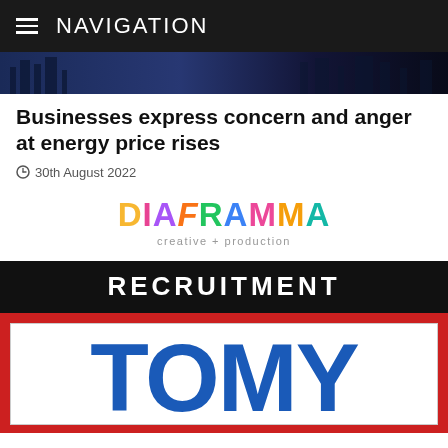NAVIGATION
[Figure (photo): Dark cityscape/night background image strip]
Businesses express concern and anger at energy price rises
30th August 2022
[Figure (logo): Diaframma creative + production logo in multi-colored letters]
RECRUITMENT
[Figure (logo): TOMY logo in large blue bold letters on white background with red border]